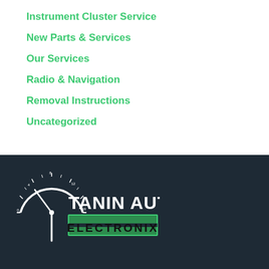Instrument Cluster Service
New Parts & Services
Our Services
Radio & Navigation
Removal Instructions
Uncategorized
[Figure (logo): Tanin Auto Electronix logo — white semicircle speedometer dial with needle, large white text 'TANIN AUTO' and green outlined box with bold text 'ELECTRONIX', on dark navy background]